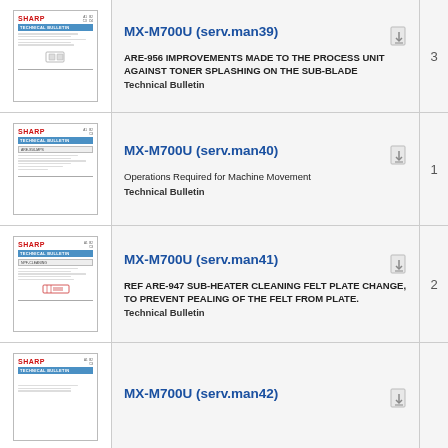[Figure (screenshot): Thumbnail of Sharp MX-M700U technical bulletin serv.man39 showing document cover with Sharp logo, Technical Bulletin header, and illustrations]
MX-M700U (serv.man39)
ARE-956 IMPROVEMENTS MADE TO THE PROCESS UNIT AGAINST TONER SPLASHING ON THE SUB-BLADE
Technical Bulletin
3
[Figure (screenshot): Thumbnail of Sharp MX-M700U technical bulletin serv.man40 showing document cover with Sharp logo, Technical Bulletin header]
MX-M700U (serv.man40)
Operations Required for Machine Movement
Technical Bulletin
1
[Figure (screenshot): Thumbnail of Sharp MX-M700U technical bulletin serv.man41 showing document cover with Sharp logo, Technical Bulletin header, and red diagram]
MX-M700U (serv.man41)
REF ARE-947 SUB-HEATER CLEANING FELT PLATE CHANGE, TO PREVENT PEALING OF THE FELT FROM PLATE.
Technical Bulletin
2
[Figure (screenshot): Thumbnail of Sharp MX-M700U technical bulletin serv.man42 showing document cover with Sharp logo, Technical Bulletin header]
MX-M700U (serv.man42)